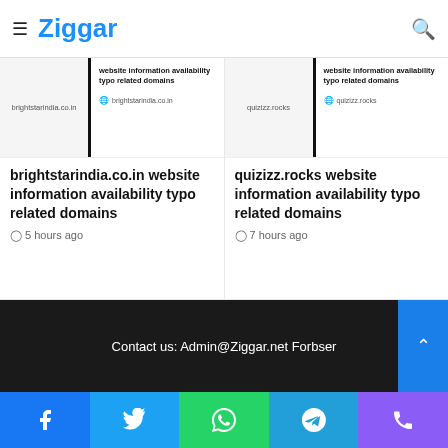Ziggar
[Figure (screenshot): Thumbnail preview of brightstarindia.co.in website showing domain info card with text: website information availability typo related domains]
brightstarindia.co.in website information availability typo related domains
5 hours ago
[Figure (screenshot): Thumbnail preview of quizizz.rocks website showing domain info card with text: website information availability typo related domains]
quizizz.rocks website information availability typo related domains
7 hours ago
Contact us: Admin@Ziggar.net Forbser